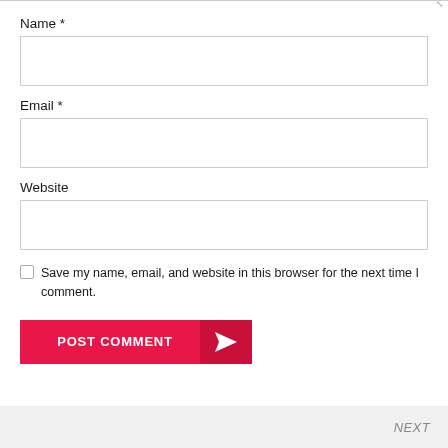Name *
Email *
Website
Save my name, email, and website in this browser for the next time I comment.
POST COMMENT
NEXT